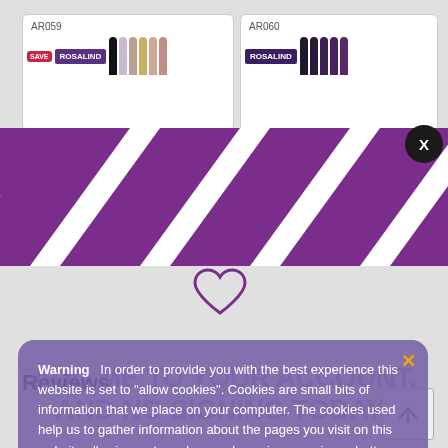[Figure (screenshot): Product cards for nail gel polish sets AR059 and AR060 with ROSALIND branding and colorful nail swatch images]
[Figure (infographic): Diagonal purple and white stripe pattern banner across the middle of the page]
[Figure (infographic): Purple promotional text overlaid reading 'ADD ME TO YOUR ACCOUNT, AND NO SIGNING TODAY!']
Warning  In order to provide you with the best experience this website is set to "allow cookies". Cookies are small bits of information that we place on your computer. The cookies used help us to gather information about the pages you visit on this website allowing us to make your browsing experience better. To find out more about our use of cookies and your privacy please read our Privacy Policy.
Reviews
[Figure (other): Back to top arrow button in bottom right corner]